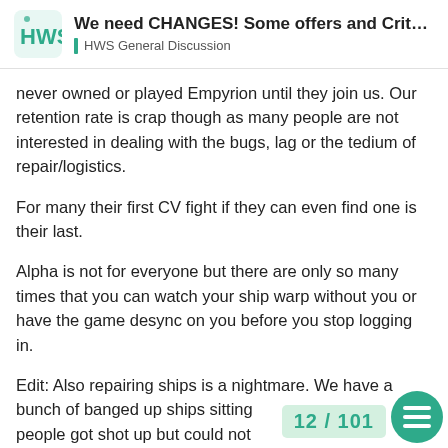We need CHANGES! Some offers and Crit… | HWS General Discussion
never owned or played Empyrion until they join us. Our retention rate is crap though as many people are not interested in dealing with the bugs, lag or the tedium of repair/logistics.
For many their first CV fight if they can even find one is their last.
Alpha is not for everyone but there are only so many times that you can watch your ship warp without you or have the game desync on you before you stop logging in.
Edit: Also repairing ships is a nightmare. We have a bunch of banged up ships sitting people got shot up but could not
12 / 101